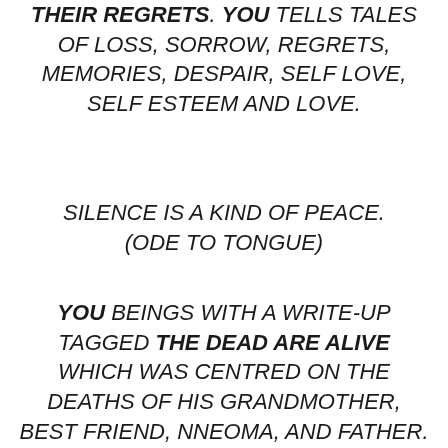THEIR REGRETS. YOU TELLS TALES OF LOSS, SORROW, REGRETS, MEMORIES, DESPAIR, SELF LOVE, SELF ESTEEM AND LOVE.
SILENCE IS A KIND OF PEACE. (ODE TO TONGUE)
YOU BEINGS WITH A WRITE-UP TAGGED THE DEAD ARE ALIVE WHICH WAS CENTRED ON THE DEATHS OF HIS GRANDMOTHER, BEST FRIEND, NNEOMA, AND FATHER. I COULD RELATE TO THIS PIECE BECAUSE I TOO HAVE LOST